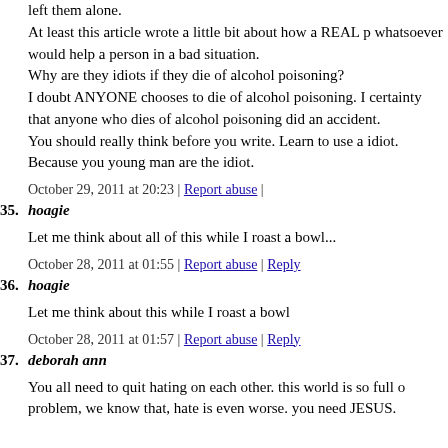left them alone.
At least this article wrote a little bit about how a REAL p whatsoever would help a person in a bad situation.
Why are they idiots if they die of alcohol poisoning?
I doubt ANYONE chooses to die of alcohol poisoning. I certainty that anyone who dies of alcohol poisoning did an accident.
You should really think before you write. Learn to use a idiot. Because you young man are the idiot.
October 29, 2011 at 20:23 | Report abuse |
35. hoagie
Let me think about all of this while I roast a bowl...
October 28, 2011 at 01:55 | Report abuse | Reply
36. hoagie
Let me think about this while I roast a bowl
October 28, 2011 at 01:57 | Report abuse | Reply
37. deborah ann
You all need to quit hating on each other. this world is so full o problem, we know that, hate is even worse. you need JESUS.